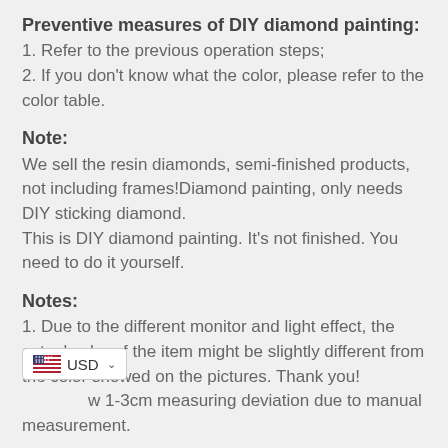Preventive measures of DIY diamond painting:
1. Refer to the previous operation steps;
2. If you don't know what the color, please refer to the color table.
Note:
We sell the resin diamonds, semi-finished products, not including frames!Diamond painting, only needs DIY sticking diamond.
This is DIY diamond painting. It's not finished. You need to do it yourself.
Notes:
1. Due to the different monitor and light effect, the actual color of the item might be slightly different from the color showed on the pictures. Thank you!
2. [allow 1-3cm measuring deviation due to manual measurement.